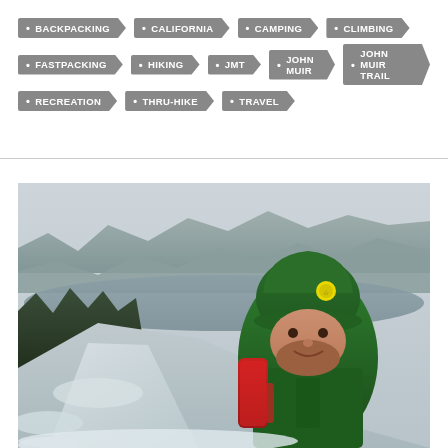BACKPACKING
CALIFORNIA
CAMPING
CLIMBING
FASTPACKING
HIKING
JMT
JOHN MUIR
JOHN MUIR TRAIL
RECREATION
THRU-HIKE
TRAVEL
[Figure (photo): A person wearing a green jacket and green beanie hat with a yellow badge, carrying a red backpack, taking a selfie outdoors in a snowy mountain landscape with a lake and tree-covered ridge in the background under an overcast grey sky.]